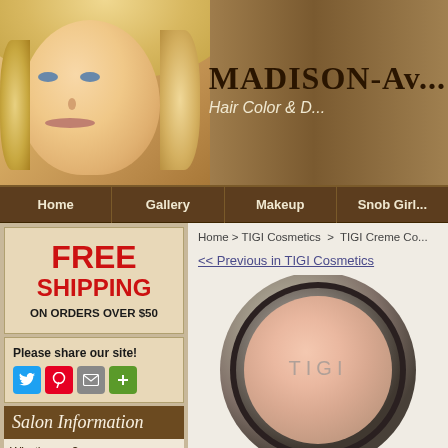[Figure (photo): Madison Avenue Hair Color & Design salon website header banner with a woman with blonde curly hair]
MADISON-AV... Hair Color & D...
Home | Gallery | Makeup | Snob Girl...
FREE SHIPPING ON ORDERS OVER $50
Please share our site!
[Figure (infographic): Social sharing buttons: Twitter, Pinterest, Email, More]
Salon Information
What's new?
Salon Services
Photo Gallery
Home > TIGI Cosmetics > TIGI Creme Co...
<< Previous in TIGI Cosmetics
[Figure (photo): TIGI makeup compact product, circular compact with peach/nude color powder, TIGI logo visible]